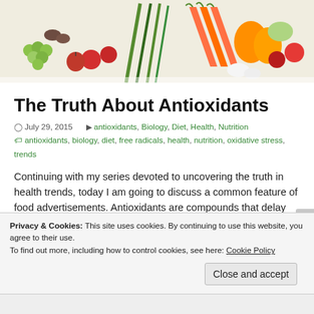[Figure (photo): A colorful assortment of fresh fruits and vegetables including grapes, carrots, peppers, tomatoes, lemons, and green onions arranged against a white background.]
The Truth About Antioxidants
July 29, 2015   antioxidants, Biology, Diet, Health, Nutrition
antioxidants, biology, diet, free radicals, health, nutrition, oxidative stress, trends
Continuing with my series devoted to uncovering the truth in health trends, today I am going to discuss a common feature of food advertisements. Antioxidants are compounds that delay some types of cell damage, which is
Privacy & Cookies: This site uses cookies. By continuing to use this website, you agree to their use. To find out more, including how to control cookies, see here: Cookie Policy
Close and accept